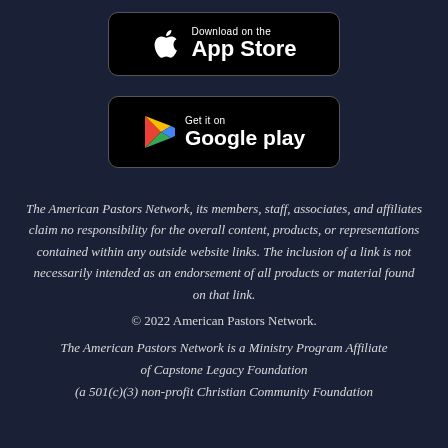[Figure (logo): Download on the App Store button — black rounded rectangle with Apple logo icon and text 'Download on the App Store']
[Figure (logo): Get it on Google Play button — black rounded rectangle with Google Play triangle logo and text 'Get it on Google play']
The American Pastors Network, its members, staff, associates, and affiliates claim no responsibility for the overall content, products, or representations contained within any outside website links. The inclusion of a link is not necessarily intended as an endorsement of all products or material found on that link.
© 2022 American Pastors Network.
The American Pastors Network is a Ministry Program Affiliate of Capstone Legacy Foundation (a 501(c)(3) non-profit Christian Community Foundation